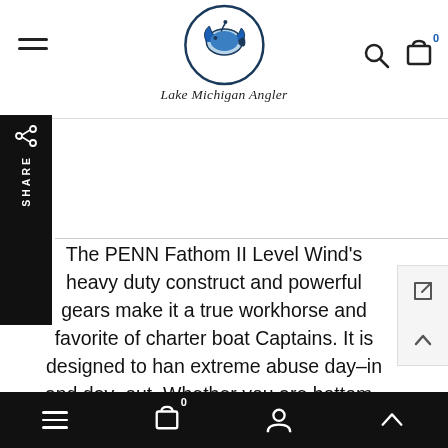Lake Michigan Angler — navigation header with logo
[Figure (logo): Lake Michigan Angler logo: circular badge with fish illustration and cursive text 'Lake Michigan Angler' below]
[Figure (infographic): Black sidebar with share icon and vertical SHARE text]
The PENN Fathom II Level Wind's heavy duty construction and powerful gears make it a true workhorse and favorite of charter boat Captains. It is designed to handle extreme abuse day-in and day-out. Whether you are bottom-fishing or casting live bait, the Fathom II will stand up to the hardest fishing conditions. A Full Metal Body keeps precise gear alignment while the Fast Gear Access Sideplate allows for easy maintenance. The Fathom II also houses our powerful HT-100 drag system
Bottom navigation bar with menu, cart (0), account, and scroll-up icons